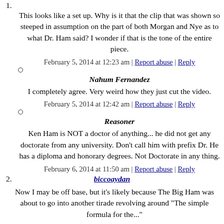This looks like a set up. Why is it that the clip that was shown so steeped in assumption on the part of both Morgan and Nye as to what Dr. Ham said? I wonder if that is the tone of the entire piece.
February 5, 2014 at 12:23 am | Report abuse | Reply
Nahum Fernandez
I completely agree. Very weird how they just cut the video.
February 5, 2014 at 12:42 am | Report abuse | Reply
Reasoner
Ken Ham is NOT a doctor of anything... he did not get any doctorate from any university. Don't call him with prefix Dr. He has a diploma and honorary degrees. Not Doctorate in any thing.
February 6, 2014 at 11:50 am | Report abuse | Reply
biccoaydan
Now I may be off base, but it's likely because The Big Ham was about to go into another tirade revolving around "The simple formula for the..."